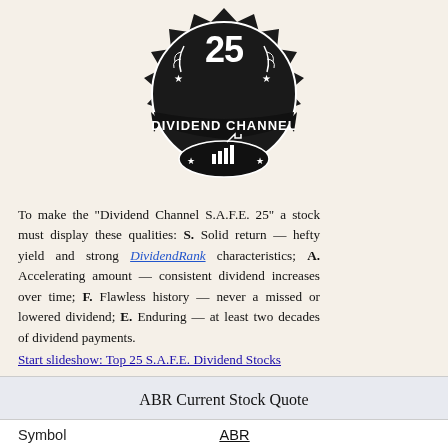[Figure (logo): Dividend Channel S.A.F.E. 25 badge logo — circular black badge with '25' at top, stars, wheat branches, 'DIVIDEND CHANNEL' banner, and a bar chart graphic in the center]
To make the "Dividend Channel S.A.F.E. 25" a stock must display these qualities: S. Solid return — hefty yield and strong DividendRank characteristics; A. Accelerating amount — consistent dividend increases over time; F. Flawless history — never a missed or lowered dividend; E. Enduring — at least two decades of dividend payments.
Start slideshow: Top 25 S.A.F.E. Dividend Stocks
ABR Current Stock Quote
| Symbol | ABR |
| Exchange | NYSE |
| Price | 14.98 |
| Change | 0.12 (0.81%) |
| Volume | 2.28M |
| Open | 14.99 |